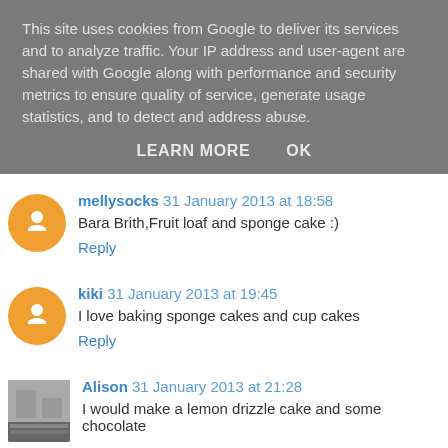This site uses cookies from Google to deliver its services and to analyze traffic. Your IP address and user-agent are shared with Google along with performance and security metrics to ensure quality of service, generate usage statistics, and to detect and address abuse.
LEARN MORE   OK
mellysocks  31 January 2013 at 18:58
Bara Brith,Fruit loaf and sponge cake :)
Reply
kiki  31 January 2013 at 19:45
I love baking sponge cakes and cup cakes
Reply
Alison  31 January 2013 at 21:28
I would make a lemon drizzle cake and some chocolate